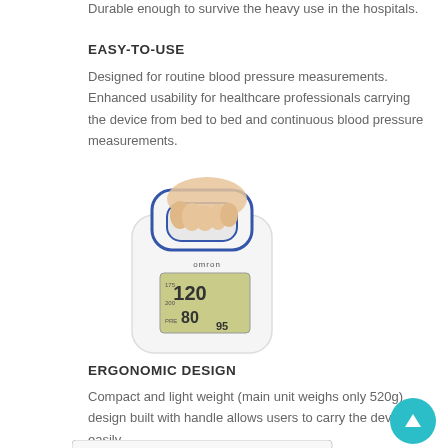Durable enough to survive the heavy use in the hospitals.
EASY-TO-USE
Designed for routine blood pressure measurements. Enhanced usability for healthcare professionals carrying the device from bed to bed and continuous blood pressure measurements.
[Figure (photo): Hand gripping an Omron blood pressure monitor device showing 120/80/95 readings on display]
ERGONOMIC DESIGN
Compact and light weight (main unit weighs only 520g) design built with handle allows users to carry the device easily.
[Figure (photo): Close-up of HBP-1320 Professional Blood Pressure Monitor display showing 120]